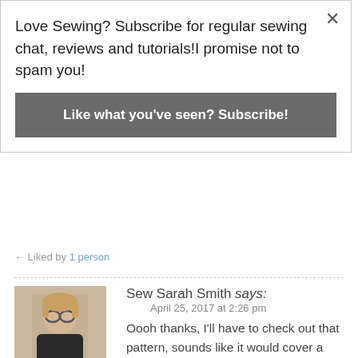Love Sewing? Subscribe for regular sewing chat, reviews and tutorials!I promise not to spam you!
Like what you've seen? Subscribe!
← Liked by 1 person
Sew Sarah Smith says:
April 25, 2017 at 2:26 pm
Oooh thanks, I'll have to check out that pattern, sounds like it would cover a multitude of cake eating sins! And thank you as always Kathleen xx